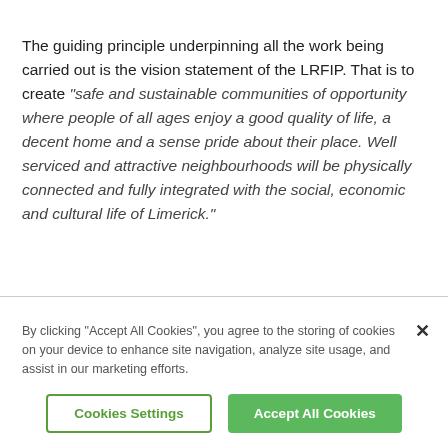The guiding principle underpinning all the work being carried out is the vision statement of the LRFIP. That is to create “safe and sustainable communities of opportunity where people of all ages enjoy a good quality of life, a decent home and a sense pride about their place. Well serviced and attractive neighbourhoods will be physically connected and fully integrated with the social, economic and cultural life of Limerick.”
By clicking “Accept All Cookies”, you agree to the storing of cookies on your device to enhance site navigation, analyze site usage, and assist in our marketing efforts.
Cookies Settings
Accept All Cookies